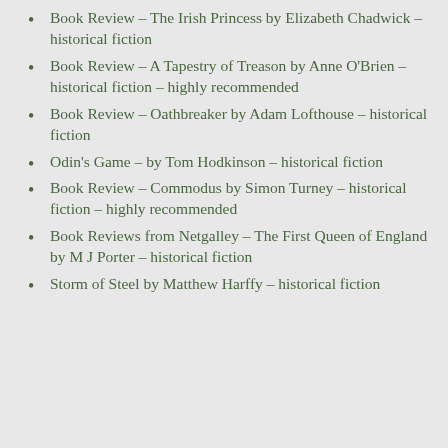Book Review – The Irish Princess by Elizabeth Chadwick – historical fiction
Book Review – A Tapestry of Treason by Anne O'Brien – historical fiction – highly recommended
Book Review – Oathbreaker by Adam Lofthouse – historical fiction
Odin's Game – by Tom Hodkinson – historical fiction
Book Review – Commodus by Simon Turney – historical fiction – highly recommended
Book Reviews from Netgalley – The First Queen of England by M J Porter – historical fiction
Storm of Steel by Matthew Harffy – historical fiction